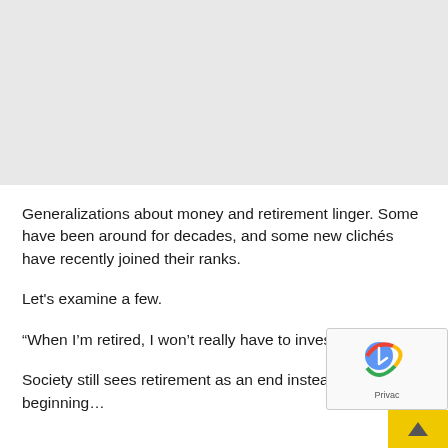[Figure (other): Gray placeholder image area at the top of the page]
Generalizations about money and retirement linger. Some have been around for decades, and some new clichés have recently joined their ranks.
Let's examine a few.
“When I’m retired, I won’t really have to invest anymore…
Society still sees retirement as an end instead of a beginning…